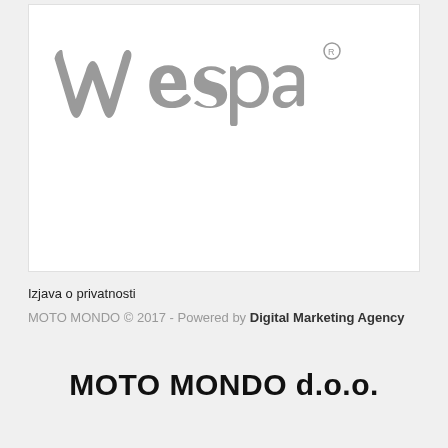[Figure (logo): Vespa script logo in grey with registered trademark symbol]
Izjava o privatnosti
MOTO MONDO © 2017 - Powered by Digital Marketing Agency
MOTO MONDO d.o.o.